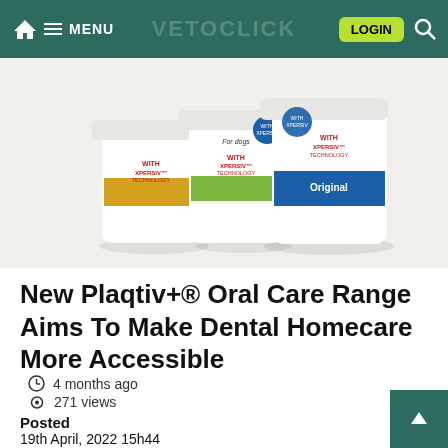MENU | VETOCLICK | LOGIN
[Figure (photo): Three white Plaqtiv+ oral care product jars with different coloured label bands: yellow, green, and blue (Original), arranged on a light background]
New Plaqtiv+® Oral Care Range Aims To Make Dental Homecare More Accessible
4 months ago
271 views
Posted
19th April, 2022 15h44
Author
Animalcare